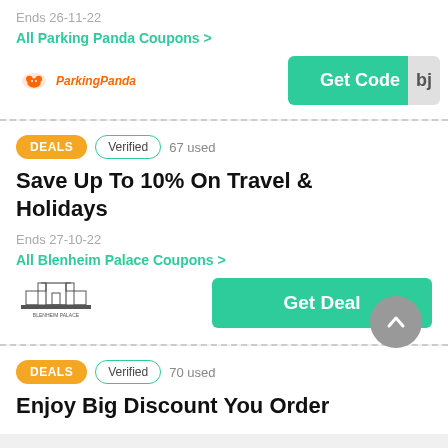Ends 26-11-22
All Parking Panda Coupons >
[Figure (logo): Parking Panda logo with orange panda icon and orange brand text]
Get Code
DEALS  Verified  67 used
Save Up To 10% On Travel & Holidays
Ends 27-10-22
All Blenheim Palace Coupons >
[Figure (logo): Blenheim Palace logo with castle illustration and text]
Get Deal
DEALS  Verified  70 used
Enjoy Big Discount You Order